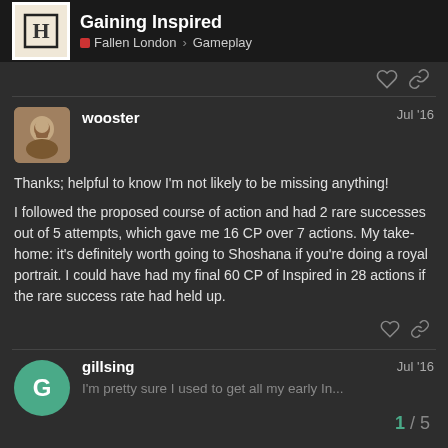Gaining Inspired — Fallen London > Gameplay
Thanks; helpful to know I'm not likely to be missing anything!

I followed the proposed course of action and had 2 rare successes out of 5 attempts, which gave me 16 CP over 7 actions. My take-home: it's definitely worth going to Shoshana if you're doing a royal portrait. I could have had my final 60 CP of Inspired in 28 actions if the rare success rate had held up.
gillsing   Jul '16
I'm pretty sure I used to get all my early In...